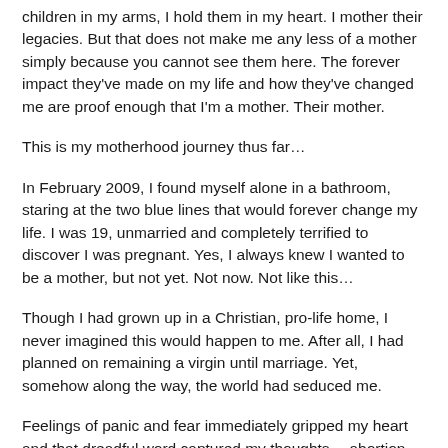children in my arms, I hold them in my heart. I mother their legacies. But that does not make me any less of a mother simply because you cannot see them here. The forever impact they've made on my life and how they've changed me are proof enough that I'm a mother. Their mother.
This is my motherhood journey thus far…
In February 2009, I found myself alone in a bathroom, staring at the two blue lines that would forever change my life. I was 19, unmarried and completely terrified to discover I was pregnant. Yes, I always knew I wanted to be a mother, but not yet. Not now. Not like this…
Though I had grown up in a Christian, pro-life home, I never imagined this would happen to me. After all, I had planned on remaining a virgin until marriage. Yet, somehow along the way, the world had seduced me.
Feelings of panic and fear immediately gripped my heart and that dreadful word captured my thoughts… abortion. The culture told me it was my choice to decide whether or not I